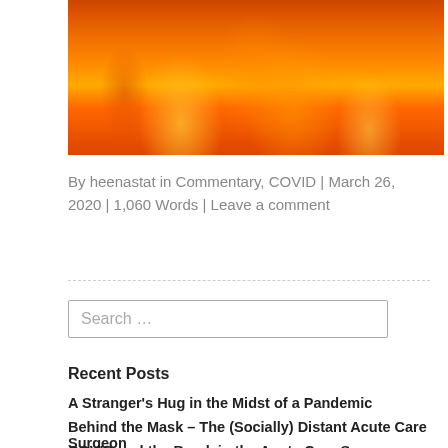[Figure (photo): Photograph of fire/flames with orange and yellow colors against a dark background]
By heenastat in Commentary, COVID | March 26, 2020 | 1,060 Words | Leave a comment
Recent Posts
A Stranger's Hug in the Midst of a Pandemic
Behind the Mask – The (Socially) Distant Acute Care Surgeon
COVID and the Break in the Acute Care Surgery Coat of Armor